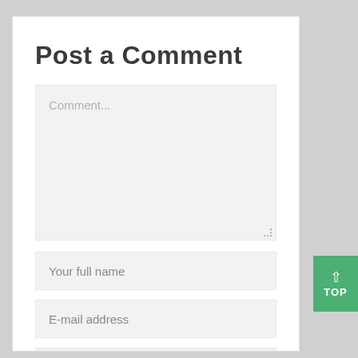Post a Comment
Comment...
Your full name
E-mail address